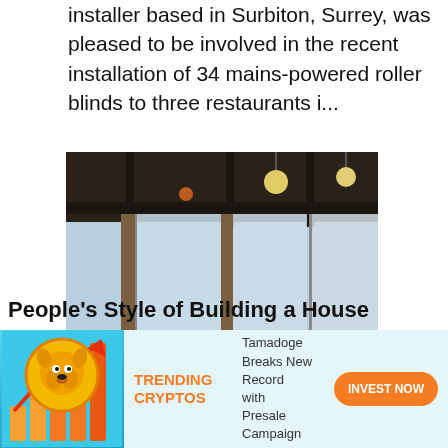installer based in Surbiton, Surrey, was pleased to be involved in the recent installation of 34 mains-powered roller blinds to three restaurants i...
[Figure (photo): Interior of a restaurant or lounge with large floor-to-ceiling windows, roller blinds partially lowered, pendant bulb lights, and a view of an airport tarmac with aircraft outside.]
People's Style of Building a House
[Figure (infographic): Cryptocurrency advertisement banner featuring a Shiba Inu dog coin with upward arrow bar chart graphic, text 'TRENDING CRYPTOS', 'Tamadoge Breaks New Record with Presale Campaign', and an orange 'INVEST NOW' button.]